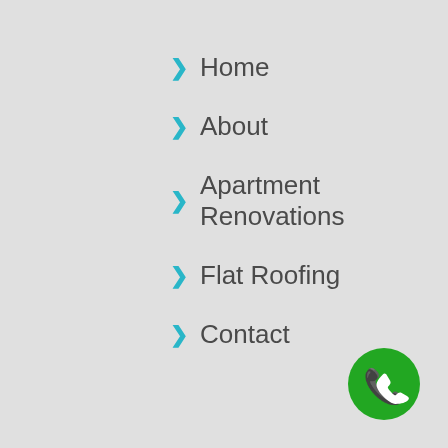Home
About
Apartment Renovations
Flat Roofing
Contact
[Figure (illustration): Green circular phone/call button icon with white telephone handset symbol]